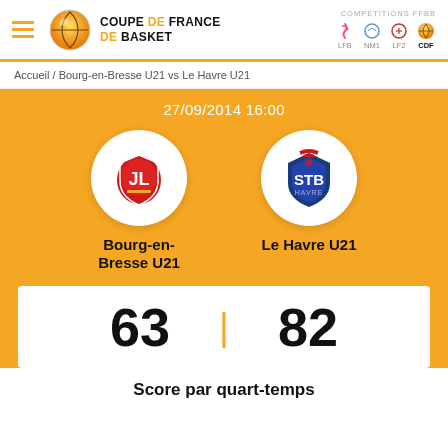Coupe de France de Basket — COMPÉTITIONS FFBB: LFB, NM1, LF2, CDF
Accueil / Bourg-en-Bresse U21 vs Le Havre U21
27/09/2014 16:00
[Figure (logo): JL Bourg-en-Bresse team logo in white circle]
[Figure (logo): STB Le Havre team logo in white circle]
Bourg-en-Bresse U21
Le Havre U21
63 | 82
Score par quart-temps